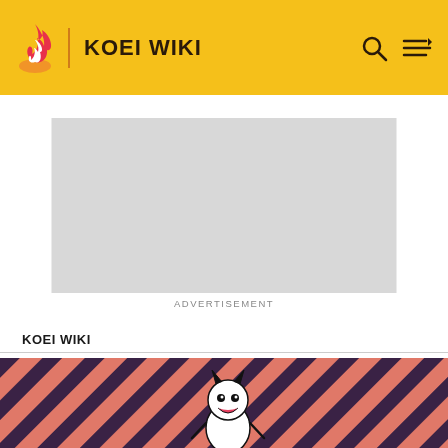KOEI WIKI
[Figure (other): Advertisement placeholder — gray rectangle with ADVERTISEMENT label below]
KOEI WIKI
Shin Sangoku Musou SLASH
EDIT
[Figure (illustration): Bottom portion showing a cartoon character (appears to be a stylized demon/mascot) on a pink and dark diagonal striped background]